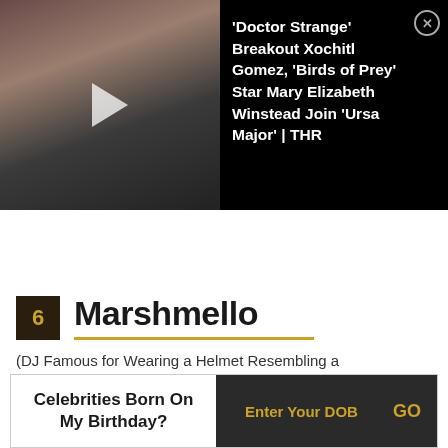[Figure (screenshot): Video thumbnail showing two women (celebrities) with a dark background and play button overlay]
'Doctor Strange' Breakout Xochitl Gomez, 'Birds of Prey' Star Mary Elizabeth Winstead Join 'Ursa Major' | THR
6  Marshmello
(DJ Famous for Wearing a Helmet Resembling a Marshmallow)
Celebrities Born On My Birthday?  Enter Your DOB  GO